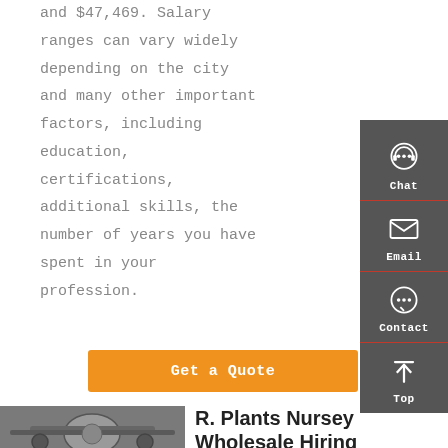and $47,469. Salary ranges can vary widely depending on the city and many other important factors, including education, certifications, additional skills, the number of years you have spent in your profession.
[Figure (infographic): Sidebar with Chat, Email, Contact, and Top navigation icons on dark grey background]
Get a Quote
[Figure (photo): Undercarriage of a vehicle showing mechanical components]
R. Plants Nursey Wholesale Hiring